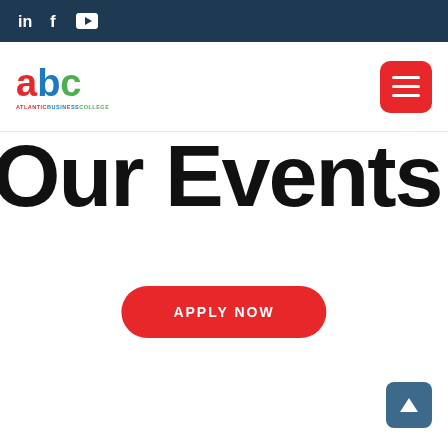LinkedIn Facebook YouTube social icons bar
[Figure (logo): Atlantic Business College logo with red 'a', blue 'b', green 'c' letters and tagline ATLANTIC BUSINESS COLLEGE]
[Figure (other): Red hamburger menu button with three white lines]
Our Events
[Figure (other): Red rounded APPLY NOW button]
[Figure (other): Blue back-to-top arrow button in bottom right corner]